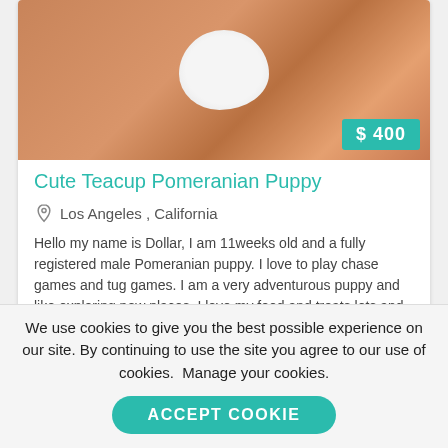[Figure (photo): Close-up photo of a Pomeranian puppy with fluffy white fur ball visible, brown/tan background. Price badge showing $400 in teal in the bottom-right corner.]
Cute Teacup Pomeranian Puppy
Los Angeles , California
Hello my name is Dollar, I am 11weeks old and a fully registered male Pomeranian puppy. I love to play chase games and tug games. I am a very adventurous puppy and like exploring new places, I love my food and treats lots and lots of them, but when i ...
[Figure (photo): Blurred photo with light blue/grey tones, partial view of a second listing image.]
We use cookies to give you the best possible experience on our site. By continuing to use the site you agree to our use of cookies.  Manage your cookies.
ACCEPT COOKIE